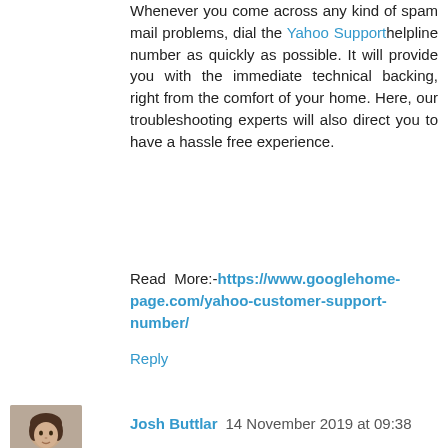Whenever you come across any kind of spam mail problems, dial the Yahoo Support helpline number as quickly as possible. It will provide you with the immediate technical backing, right from the comfort of your home. Here, our troubleshooting experts will also direct you to have a hassle free experience.
Read More:- https://www.googlehome-page.com/yahoo-customer-support-number/
Reply
[Figure (photo): Avatar photo of Josh Buttlar, a man with dark hair]
Josh Buttlar  14 November 2019 at 09:38
Get Your Yahoo Queries Answered Quickly Via Yahoo Number Facility
Are you one of those who to get your queries answered in a proper and timely manner? Why don't you approach our certified customer care experts? Solving such kind of problems or concerns is no more hectic as you can get the one stop solution by dialing our Yahoo Number at